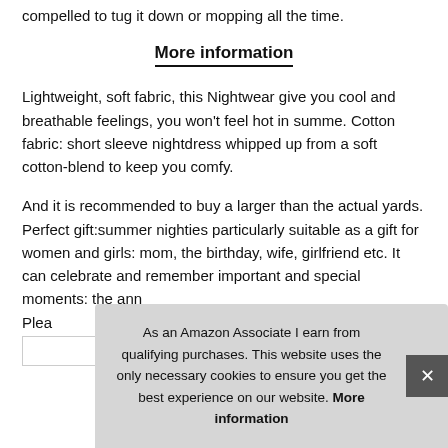compelled to tug it down or mopping all the time.
More information
Lightweight, soft fabric, this Nightwear give you cool and breathable feelings, you won't feel hot in summe. Cotton fabric: short sleeve nightdress whipped up from a soft cotton-blend to keep you comfy.
And it is recommended to buy a larger than the actual yards. Perfect gift:summer nighties particularly suitable as a gift for women and girls: mom, the birthday, wife, girlfriend etc. It can celebrate and remember important and special moments: the ann... Plea...
As an Amazon Associate I earn from qualifying purchases. This website uses the only necessary cookies to ensure you get the best experience on our website. More information